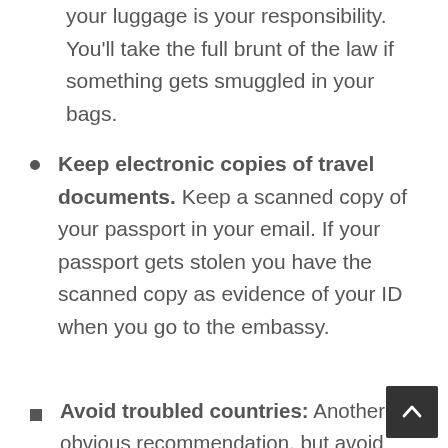your luggage is your responsibility. You'll take the full brunt of the law if something gets smuggled in your bags.
Keep electronic copies of travel documents. Keep a scanned copy of your passport in your email. If your passport gets stolen you have the scanned copy as evidence of your ID when you go to the embassy.
Avoid troubled countries: Another obvious recommendation, but avoid troubled countries. For example: now is not the best time to visit Syria, Egypt or Iraq. If a country you're visiting having demonstrations or political upheavals